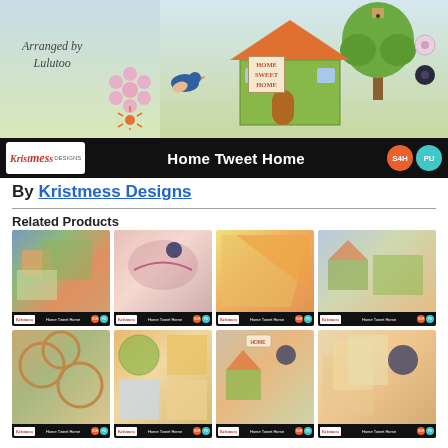[Figure (illustration): Banner image for 'Home Tweet Home' digital scrapbooking kit by Kristmess Designs. Shows a colorful illustrated scene with houses, a tree, birds, and flowers. Text says 'Arranged by Lulutoo' and 'HOME SWEET HOME'. Bottom bar is black with Kristmess Designs logo, title 'Home Tweet Home', and S4H and PU badges.]
By Kristmess Designs
Related Products
[Figure (illustration): Thumbnail 1 - Home Tweet Home related product showing colorful digital scrapbooking elements with houses and flowers]
[Figure (illustration): Thumbnail 2 - Home Tweet Home related product with pink background and bird on branch]
[Figure (illustration): Thumbnail 3 - Home Tweet Home related product showing papers in orange/yellow tones]
[Figure (illustration): Thumbnail 4 - Home Tweet Home related product with blue/green tones showing house scene]
[Figure (illustration): Thumbnail 5 - Home Tweet Home related product showing circular frames with floral elements]
[Figure (illustration): Thumbnail 6 - Home Tweet Home related product showing paper pad with orange and blue squares]
[Figure (illustration): Thumbnail 7 - Home Tweet Home related product showing quick page with house scene]
[Figure (illustration): Thumbnail 8 - Home Tweet Home related product showing stacked papers and elements]